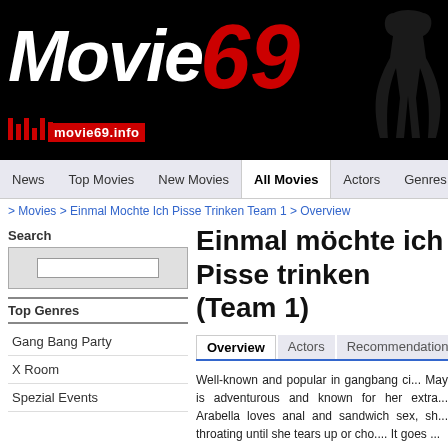[Figure (logo): Movie69 website logo: white italic 'Movie' text and red '69' on black background, silhouette of a woman, red barcode bars and 'movie69.info' text]
News | Top Movies | New Movies | All Movies | Actors | Genres
> Movies > Einmal Mochte Ich Pisse Trinken Team 1 > Overview
Search
Top Genres
Gang Bang Party
X Room
Spezial Events
Einmal möchte ich Pisse trinken (Team 1)
Overview | Actors | Recommendations
Well-known and popular in gangbang ci... May is adventurous and known for her extra... Arabella loves anal and sandwich sex, sh... throating until she tears up or cho.... It goes ...